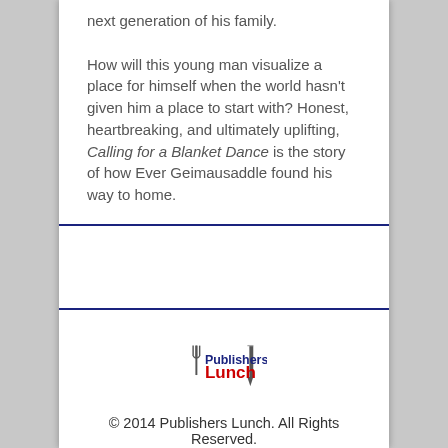next generation of his family.

How will this young man visualize a place for himself when the world hasn't given him a place to start with? Honest, heartbreaking, and ultimately uplifting, Calling for a Blanket Dance is the story of how Ever Geimausaddle found his way to home.
[Figure (logo): Publishers Lunch logo with fork and pencil icons, 'Publishers' in blue bold text, 'Lunch' in red bold text]
© 2014 Publishers Lunch. All Rights Reserved.